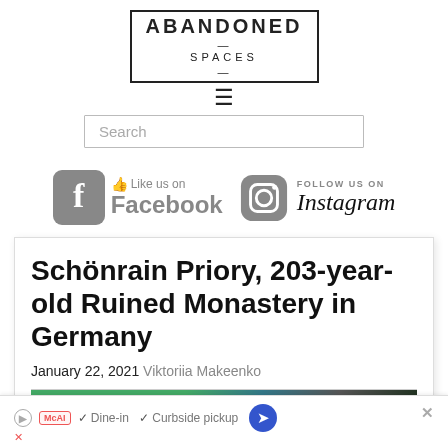ABANDONED SPACES
[Figure (logo): Abandoned Spaces logo with border, hamburger menu icon, and search bar]
[Figure (infographic): Like us on Facebook and Follow us on Instagram social buttons]
Schönrain Priory, 203-year-old Ruined Monastery in Germany
January 22, 2021 Viktoriia Makeenko
[Figure (infographic): Advertisement banner: Dine-in, Curbside pickup with McAl logo]